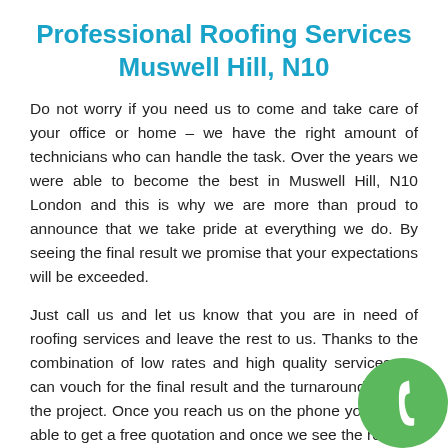Professional Roofing Services Muswell Hill, N10
Do not worry if you need us to come and take care of your office or home – we have the right amount of technicians who can handle the task. Over the years we were able to become the best in Muswell Hill, N10 London and this is why we are more than proud to announce that we take pride at everything we do. By seeing the final result we promise that your expectations will be exceeded.
Just call us and let us know that you are in need of roofing services and leave the rest to us. Thanks to the combination of low rates and high quality services we can vouch for the final result and the turnaround time of the project. Once you reach us on the phone you will be able to get a free quotation and once we see the roof we will give you estimation as well, so wast...
[Figure (illustration): Green circular phone icon in the bottom-right corner]